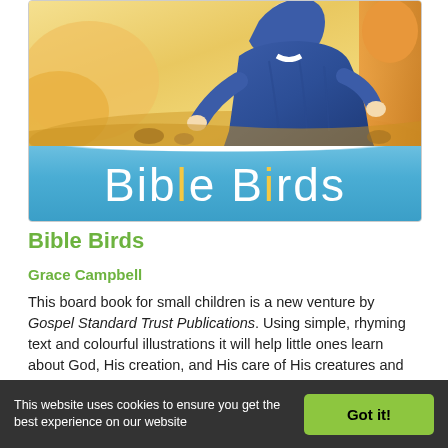[Figure (illustration): Book cover of 'Bible Birds' showing a blue-robed figure (likely Jesus) kneeling on sandy ground with golden/yellow background, and a blue sky band at bottom with the title 'Bible Birds' in large white and yellow text]
Bible Birds
Grace Campbell
This board book for small children is a new venture by Gospel Standard Trust Publications. Using simple, rhyming text and colourful illustrations it will help little ones learn about God, His creation, and His care of His creatures and His children. Complete with Bible texts and references
This website uses cookies to ensure you get the best experience on our website  Got it!